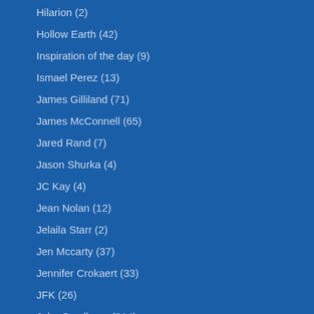Hilarion (2)
Hollow Earth (42)
Inspiration of the day (9)
Ismael Perez (13)
James Gilliland (71)
James McConnell (65)
Jared Rand (7)
Jason Shurka (4)
JC Kay (4)
Jean Nolan (12)
Jelaila Starr (2)
Jen Mccarty (37)
Jennifer Crokaert (33)
JFK (26)
John Smallman (214)
Jordan Sather (11)
Journey to Truth Podcast (4)
Juan O Savin (12)